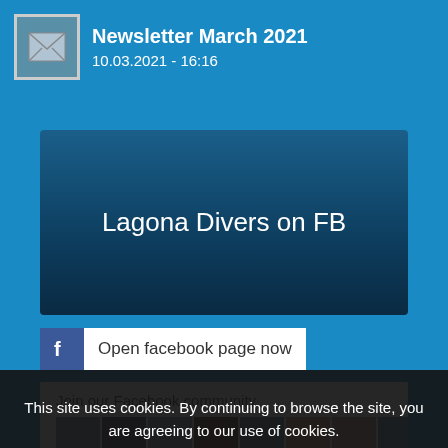Newsletter March 2021
10.03.2021 - 16:16
Lagona Divers on FB
Open facebook page now
Join our Facebook community
[Figure (photo): Row of profile photo thumbnails of various people for Facebook community display]
This site uses cookies. By continuing to browse the site, you are agreeing to our use of cookies.
OK